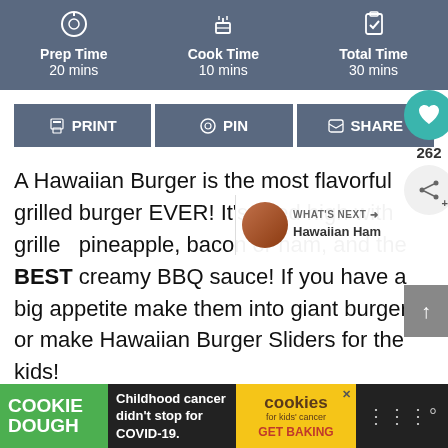Prep Time 20 mins | Cook Time 10 mins | Total Time 30 mins
[Figure (infographic): Three action buttons: PRINT, PIN, SHARE with icons; floating heart button with count 262 and share button]
A Hawaiian Burger is the most flavorful grilled burger EVER! It's piled high with grilled pineapple, bacon or ham, and the BEST creamy BBQ sauce! If you have a big appetite make them into giant burgers, or make Hawaiian Burger Sliders for the kids!
[Figure (infographic): Cookie Dough advertisement bar: Childhood cancer didn't stop for COVID-19. GET BAKING.]